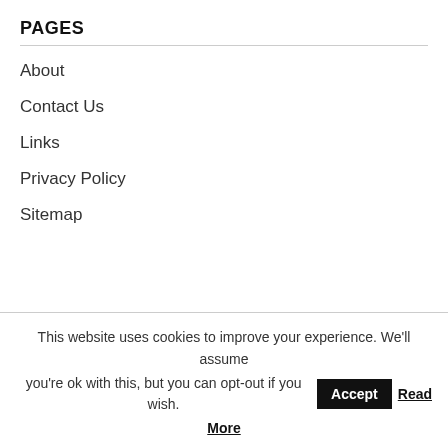PAGES
About
Contact Us
Links
Privacy Policy
Sitemap
RELATED LINKS
This website uses cookies to improve your experience. We'll assume you're ok with this, but you can opt-out if you wish. Accept Read More